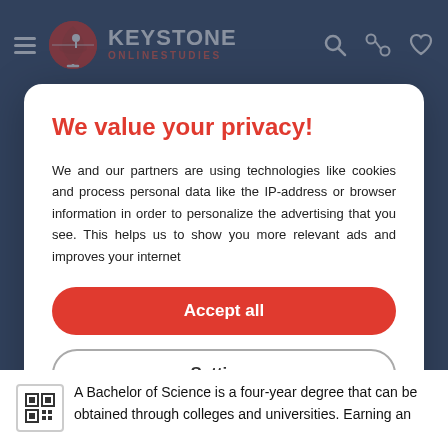[Figure (logo): Keystone Online Studies logo with globe icon, white hamburger menu icon, and navigation icons (search, compare, heart) on dark blue header]
We value your privacy!
We and our partners are using technologies like cookies and process personal data like the IP-address or browser information in order to personalize the advertising that you see. This helps us to show you more relevant ads and improves your internet
Accept all
Settings
Cookies | Privacy notice | T&C
A Bachelor of Science is a four-year degree that can be obtained through colleges and universities. Earning an